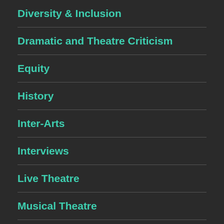Diversity & Inclusion
Dramatic and Theatre Criticism
Equity
History
Inter-Arts
Interviews
Live Theatre
Musical Theatre